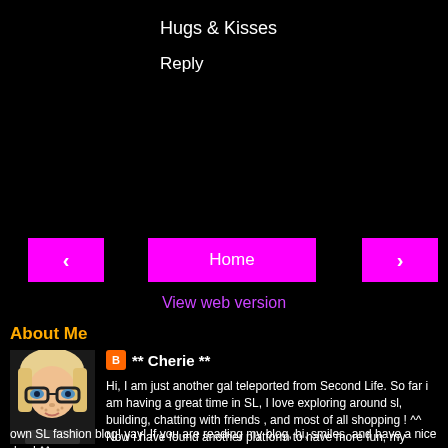Hugs & Kisses
Reply
‹
Home
›
View web version
About Me
[Figure (photo): Avatar profile photo of a blonde woman with black rimmed glasses]
** Cherie **
Hi, I am just another gal teleported from Second Life. So far i am having a great time in SL, I love exploring around sl, building, chatting with friends , and most of all shopping ! ^^ Now i have found another platform to have more fun, my own SL fashion blog! yay! If you are reading my blog, hi, smiles, and have a nice day ! ^^